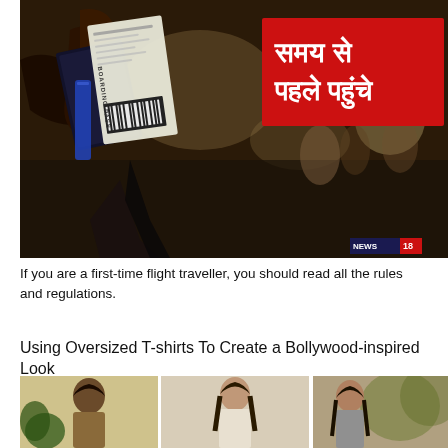[Figure (photo): Airport scene with a person holding a boarding pass and passport, blurred terminal background. Red overlay badge with Hindi text 'समय से पहले पहुंचे' (Arrive before time). News18 logo in bottom right corner.]
If you are a first-time flight traveller, you should read all the rules and regulations.
Using Oversized T-shirts To Create a Bollywood-inspired Look
[Figure (photo): Three women in oversized T-shirts showcasing Bollywood-inspired looks, partial view cut off at bottom of page.]